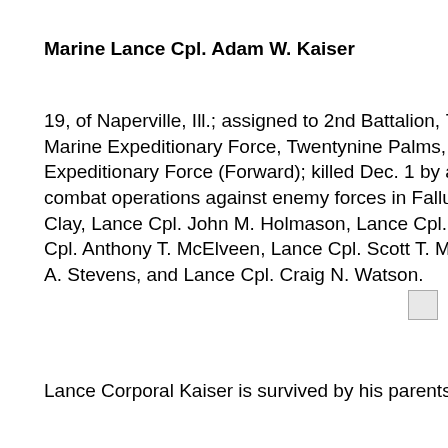Marine Lance Cpl. Adam W. Kaiser
19, of Naperville, Ill.; assigned to 2nd Battalion, 7th Marine Regiment, 1st Marine Division, I Marine Expeditionary Force, Twentynine Palms, Calif.; attached to 2nd Marine Division, II Marine Expeditionary Force (Forward); killed Dec. 1 by an improvised explosive device while conducting combat operations against enemy forces in Fallujah, Iraq. Also killed were Staff Sgt. Daniel J. Clay, Lance Cpl. John M. Holmason, Lance Cpl. David A. Huhn, Lance Cpl. Robert A. Martinez, Cpl. Anthony T. McElveen, Lance Cpl. Scott T. Modeen, Lance Cpl. Andrew G. Patten, Sgt. Andy A. Stevens, and Lance Cpl. Craig N. Watson.
[Figure (photo): Small broken image placeholder icon]
Lance Corporal Kaiser is survived by his parents, Wade and Christine, both of